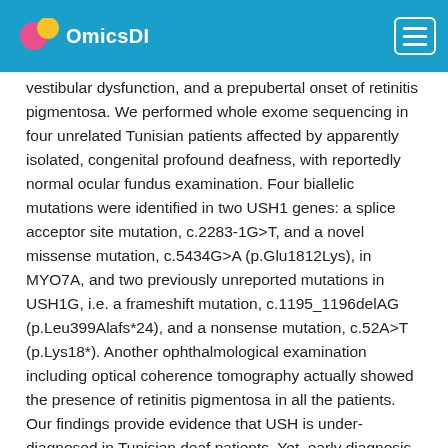OmicsDI
vestibular dysfunction, and a prepubertal onset of retinitis pigmentosa. We performed whole exome sequencing in four unrelated Tunisian patients affected by apparently isolated, congenital profound deafness, with reportedly normal ocular fundus examination. Four biallelic mutations were identified in two USH1 genes: a splice acceptor site mutation, c.2283-1G>T, and a novel missense mutation, c.5434G>A (p.Glu1812Lys), in MYO7A, and two previously unreported mutations in USH1G, i.e. a frameshift mutation, c.1195_1196delAG (p.Leu399Alafs*24), and a nonsense mutation, c.52A>T (p.Lys18*). Another ophthalmological examination including optical coherence tomography actually showed the presence of retinitis pigmentosa in all the patients. Our findings provide evidence that USH is under-diagnosed in Tunisian deaf patients. Yet, early diagnosis of USH is of utmost importance because these patients should undergo cochlear implant surgery in early childhood, in anticipation of the visual loss.